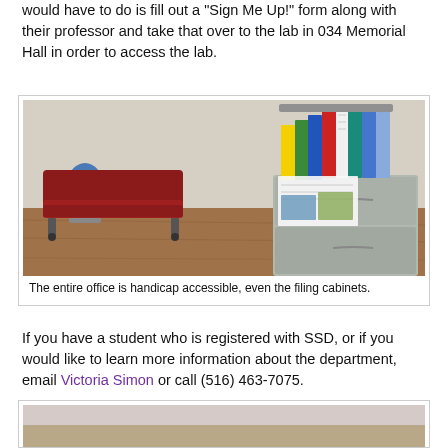would have to do is fill out a 'Sign Me Up!' form along with their professor and take that over to the lab in 034 Memorial Hall in order to access the lab.
[Figure (photo): Interior photo of an accessible office room showing a red padded exam table/bench on the left, a blue water cooler jug, a filing cabinet on the right covered with colorful folders and documents arranged vertically, and papers/brochures on top. The floor is brown wood-tone.]
The entire office is handicap accessible, even the filing cabinets.
If you have a student who is registered with SSD, or if you would like to learn more information about the department, email Victoria Simon or call (516) 463-7075.
[Figure (photo): Partial view of another room interior, appears to be a beige/tan colored room, bottom portion cut off.]